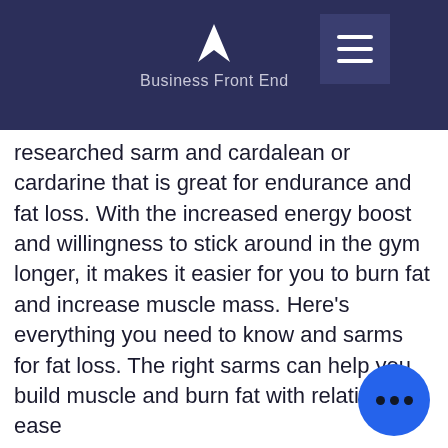Business Front End
researched sarm and cardalean or cardarine that is great for endurance and fat loss. With the increased energy boost and willingness to stick around in the gym longer, it makes it easier for you to burn fat and increase muscle mass. Here's everything you need to know and sarms for fat loss. The right sarms can help you build muscle and burn fat with relative ease
You can save time and money with stack overflow for teams. Everything you need to know. Vertical stacked rain barrels. This isn't an approach we'd recommend. Do you know why? read on! — the makers of uno have caused a stir on social media after confirming that players can't stack +2 c Even if you don't meet the minimum, y still stack and earn bitcoin by pooling with